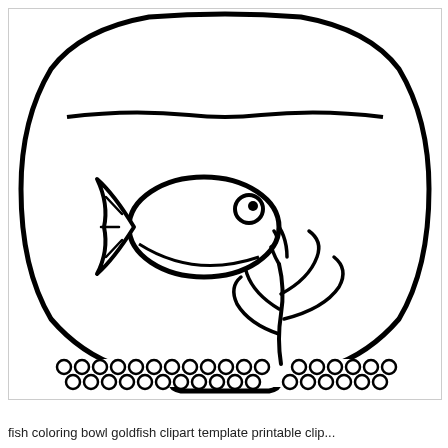[Figure (illustration): A black and white coloring page illustration of a goldfish bowl (fish bowl). The bowl has a rounded shape, narrower at top and bottom, wider in the middle. A wavy water line appears near the top. Inside is a cartoon fish facing right with a round body, tail fin with decorative lines, and a circular eye with a smile. Below the fish is a seaweed/aquatic plant with branching stems and leaf shapes. The bottom of the bowl shows gravel depicted as rows of small circles. The bowl sits on a flat base.]
fish coloring bowl goldfish clipart template printable clip...